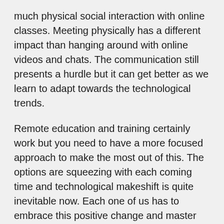much physical social interaction with online classes. Meeting physically has a different impact than hanging around with online videos and chats. The communication still presents a hurdle but it can get better as we learn to adapt towards the technological trends.
Remote education and training certainly work but you need to have a more focused approach to make the most out of this. The options are squeezing with each coming time and technological makeshift is quite inevitable now. Each one of us has to embrace this positive change and master these new learning techniques.
If you are interested in even more lifestyle-related articles and information from us here at Bit Rebels, then we have a lot to choose from.